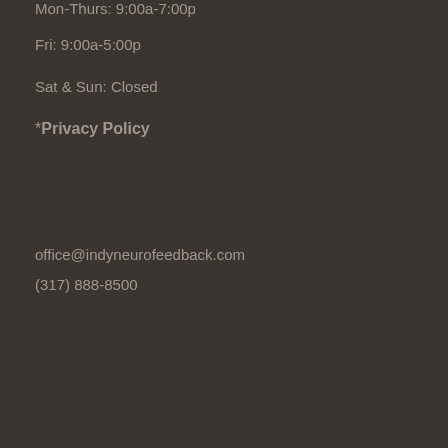Mon-Thurs: 9:00a-7:00p
Fri: 9:00a-5:00p
Sat & Sun: Closed
*Privacy Policy
office@indyneurofeedback.com
(317) 888-8500